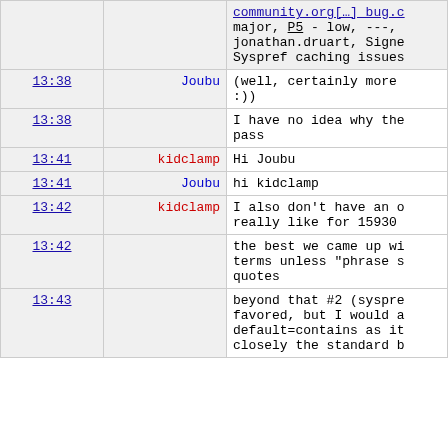| time | user | message |
| --- | --- | --- |
|  |  | community.org[…] bug.c
major, P5 - low, ---,
jonathan.druart, Signe
Syspref caching issues |
| 13:38 | Joubu | (well, certainly more
:)) |
| 13:38 |  | I have no idea why the
pass |
| 13:41 | kidclamp | Hi Joubu |
| 13:41 | Joubu | hi kidclamp |
| 13:42 | kidclamp | I also don't have an o
really like for 15930 |
| 13:42 |  | the best we came up wi
terms unless "phrase s
quotes |
| 13:43 |  | beyond that #2 (syspre
favored, but I would a
default=contains as it
closely the standard b |